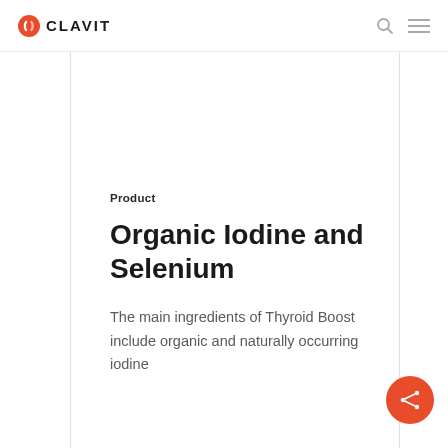CLAVIT
Product
Organic Iodine and Selenium
The main ingredients of Thyroid Boost include organic and naturally occurring iodine